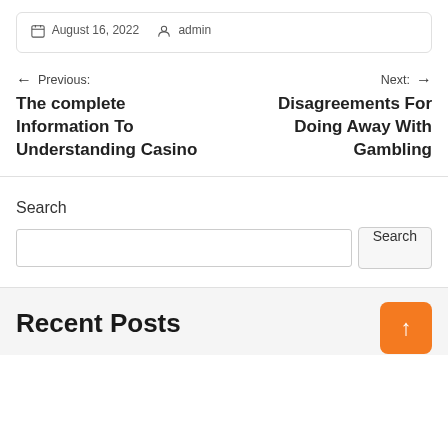August 16, 2022  admin
← Previous: The complete Information To Understanding Casino
Next: → Disagreements For Doing Away With Gambling
Search
Recent Posts